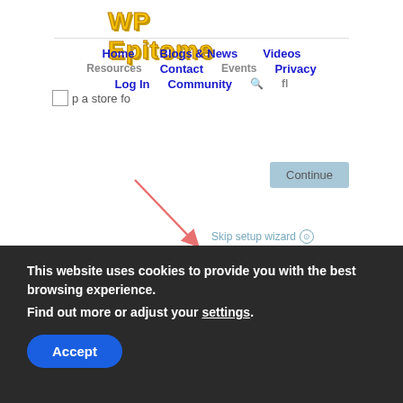WP Epitome
Home  Blogs & News  Videos  Resources  Contact  Events  Privacy  Log In  Community
[Figure (screenshot): Screenshot of WooCommerce setup wizard with Continue button and Skip setup wizard link, with a salmon-colored arrow pointing to the Skip setup wizard link]
Upselling
Looking more closely at steps 3 and 5 of the setup process, I found that WooCommerce is doing a great job of upselling their paid extensions right in their own onboarding process! They offer a Subscriptions add-on in Step 3:
This website uses cookies to provide you with the best browsing experience. Find out more or adjust your settings.